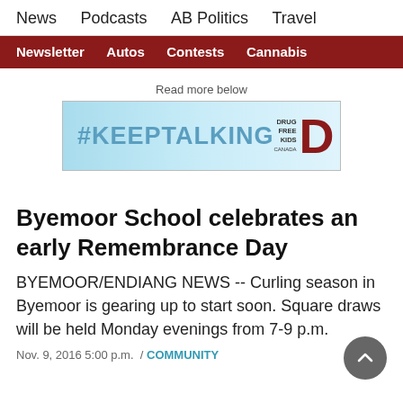News  Podcasts  AB Politics  Travel
Newsletter  Autos  Contests  Cannabis
[Figure (other): Advertisement banner: #KEEPTALKING with Drug Free Kids logo]
Byemoor School celebrates an early Remembrance Day
BYEMOOR/ENDIANG NEWS -- Curling season in Byemoor is gearing up to start soon. Square draws will be held Monday evenings from 7-9 p.m.
Nov. 9, 2016 5:00 p.m.  /  COMMUNITY